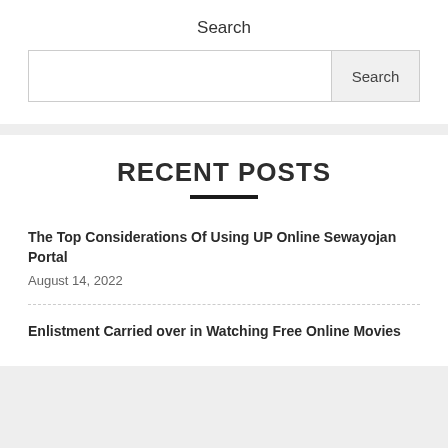Search
Search
RECENT POSTS
The Top Considerations Of Using UP Online Sewayojan Portal
August 14, 2022
Enlistment Carried over in Watching Free Online Movies